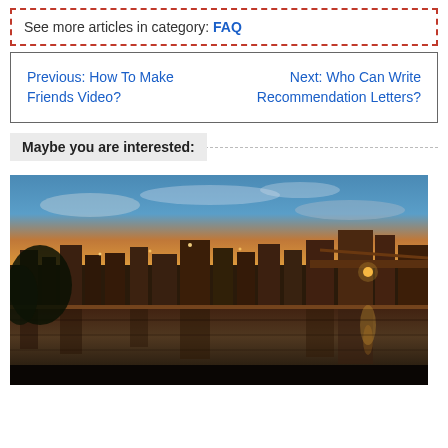See more articles in category: FAQ
Previous: How To Make Friends Video?  Next: Who Can Write Recommendation Letters?
Maybe you are interested:
[Figure (photo): Panoramic sunset/dusk photo of a waterfront city scene with buildings, a bridge, lights reflected in calm water, and colorful sky with clouds]